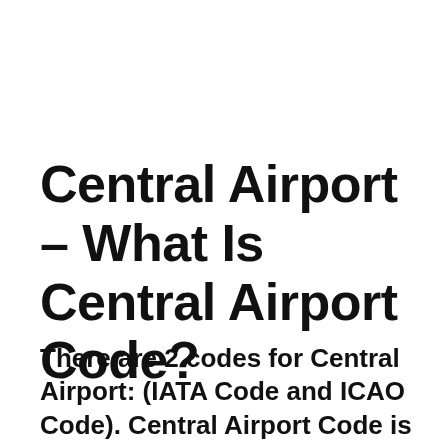Central Airport – What Is Central Airport Code?
There are 2 codes for Central Airport: (IATA Code and ICAO Code). Central Airport Code is CEM (IATA Code) and Central ICAO Code is PACE